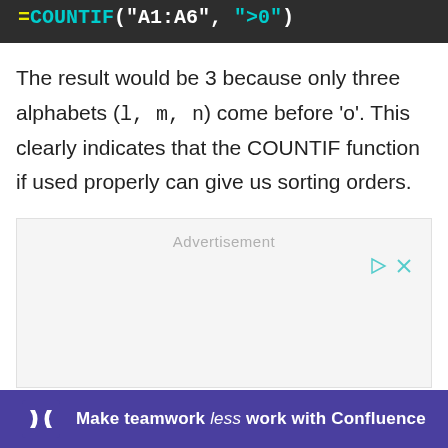[Figure (screenshot): Dark code block showing =COUNTIF("A1:A6",">0") formula in monospace font with syntax highlighting]
The result would be 3 because only three alphabets (l, m, n) come before 'o'. This clearly indicates that the COUNTIF function if used properly can give us sorting orders.
[Figure (other): Advertisement placeholder box with 'Advertisement' label and play/close icons]
[Figure (other): Confluence promotional banner: Make teamwork less work with Confluence]